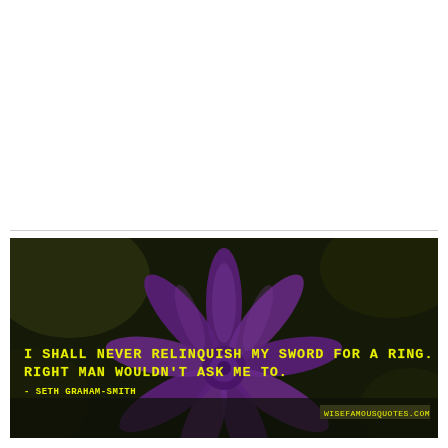[Figure (photo): Dark background photo of a purple lotus/water lily flower with a quote overlay. The quote in bold yellow monospace text reads: 'I SHALL NEVER RELINQUISH MY SWORD FOR A RING. THE RIGHT MAN WOULDN'T ASK ME TO.' with attribution '- SETH GRAHAM-SMITH' and website 'WISEFAMOUSQUOTES.COM' at the bottom right.]